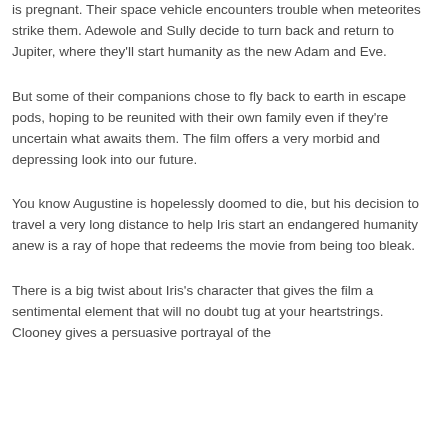is pregnant. Their space vehicle encounters trouble when meteorites strike them. Adewole and Sully decide to turn back and return to Jupiter, where they'll start humanity as the new Adam and Eve.
But some of their companions chose to fly back to earth in escape pods, hoping to be reunited with their own family even if they're uncertain what awaits them. The film offers a very morbid and depressing look into our future.
You know Augustine is hopelessly doomed to die, but his decision to travel a very long distance to help Iris start an endangered humanity anew is a ray of hope that redeems the movie from being too bleak.
There is a big twist about Iris's character that gives the film a sentimental element that will no doubt tug at your heartstrings. Clooney gives a persuasive portrayal of the